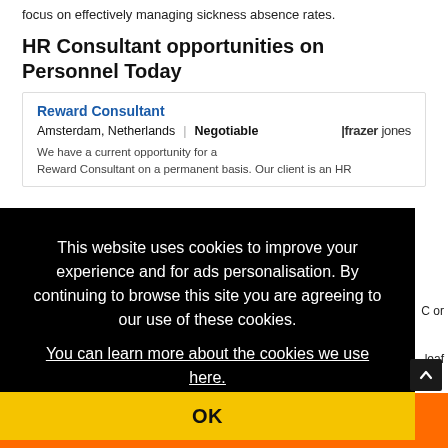focus on effectively managing sickness absence rates.
HR Consultant opportunities on Personnel Today
Reward Consultant
Amsterdam, Netherlands | Negotiable
We have a current opportunity for a Reward Consultant on a permanent basis. Our client is an HR
This website uses cookies to improve your experience and for ads personalisation. By continuing to browse this site you are agreeing to our use of these cookies.
You can learn more about the cookies we use here.
OK